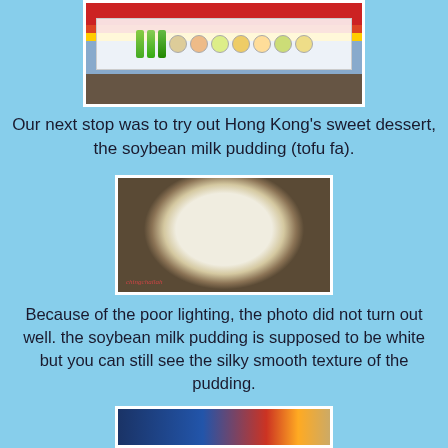[Figure (photo): Photo of a food stall or restaurant storefront with colorful banner/signage showing food items, red awning, and display boards]
Our next stop was to try out Hong Kong's sweet dessert, the soybean milk pudding (tofu fa).
[Figure (photo): Close-up photo of soybean milk pudding (tofu fa) in a white bowl. The pudding appears yellowish-cream colored due to poor lighting. Watermark reading 'chingchailah' in the bottom left corner.]
Because of the poor lighting, the photo did not turn out well. the soybean milk pudding is supposed to be white but you can still see the silky smooth texture of the pudding.
[Figure (photo): Partial photo of another food stall or street scene at the bottom of the page]